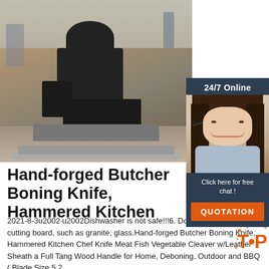[Figure (photo): Industrial machine (large black metal cutting/pressing machine) on a wooden pallet in a warehouse/factory setting with concrete floor and steel ceiling structure. A customer service chat widget overlay appears on the right side showing a smiling woman with a headset, labeled '24/7 Online' with a 'Click here for free chat!' message and an orange QUOTATION button.]
Hand-forged Butcher Boning Knife, Hammered Kitchen
2021-8-3u2002·u2002Dishwasher is not safe!!!6. Do not cut on a hard cutting board, such as granite, glass.Hand-forged Butcher Boning Knife, Hammered Kitchen Chef Knife Meat Fish Vegetable Cleaver w/Leather Sheath a Full Tang Wood Handle for Home, Deboning, Outdoor and BBQ ( Blade Size 5.2